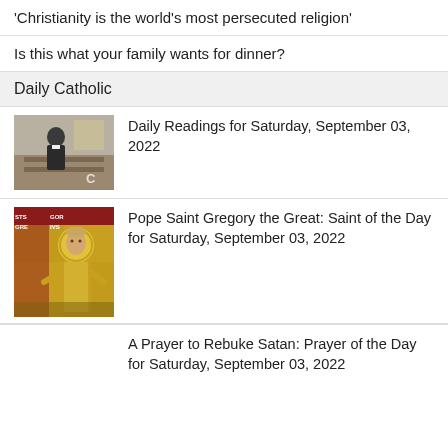'Christianity is the world's most persecuted religion'
Is this what your family wants for dinner?
Daily Catholic
Daily Readings for Saturday, September 03, 2022
Pope Saint Gregory the Great: Saint of the Day for Saturday, September 03, 2022
A Prayer to Rebuke Satan: Prayer of the Day for Saturday, September 03, 2022